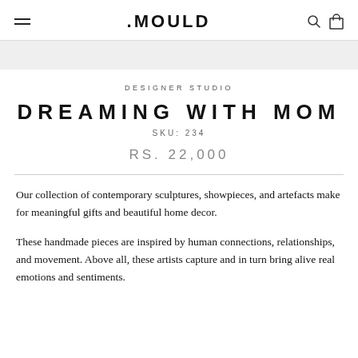.MOULD
DESIGNER STUDIO
DREAMING WITH MOM
SKU: 234
RS. 22,000
Our collection of contemporary sculptures, showpieces, and artefacts make for meaningful gifts and beautiful home decor.
These handmade pieces are inspired by human connections, relationships, and movement. Above all, these artists capture and in turn bring alive real emotions and sentiments.